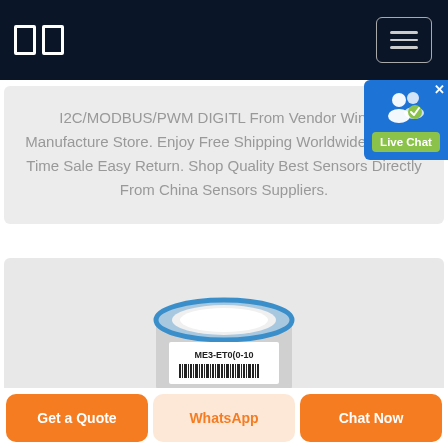□□ [navigation bar with hamburger menu]
I2C/MODBUS/PWM DIGITL From Vendor Winwin Manufacture Store. Enjoy Free Shipping Worldwide! Limited Time Sale Easy Return. Shop Quality Best Sensors Directly From China Sensors Suppliers.
[Figure (photo): A small cylindrical gas sensor labeled ME3-ET0(0-10... with a blue rim and white top, barcode visible, on light grey background. Live Chat popup visible in upper right.]
Get a Quote
WhatsApp
Chat Now